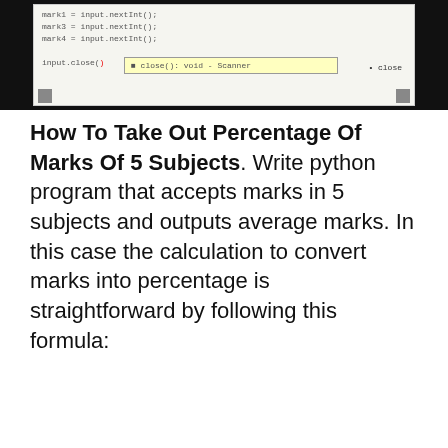[Figure (screenshot): Screenshot of a Java IDE showing code with input.nextInt() calls and an autocomplete popup for input.close() method showing 'close' hint]
How To Take Out Percentage Of Marks Of 5 Subjects. Write python program that accepts marks in 5 subjects and outputs average marks. In this case the calculation to convert marks into percentage is straightforward by following this formula:
[Figure (screenshot): Screenshot of Java source code showing a program that asks a student their name and final marks in 4 classes, uses Scanner for input, declares variables String name, int mark1 mark2 mark3 mark4, double average, and reads input values]